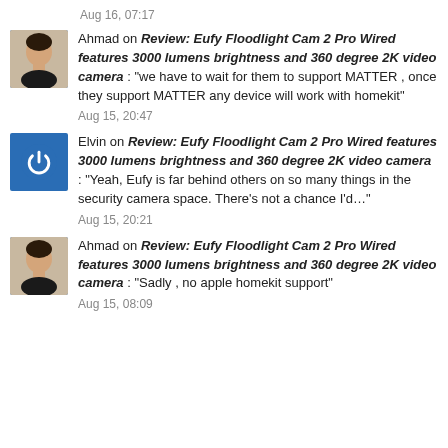Aug 16, 07:17
Ahmad on Review: Eufy Floodlight Cam 2 Pro Wired features 3000 lumens brightness and 360 degree 2K video camera : “we have to wait for them to support MATTER , once they support MATTER any device will work with homekit”
Aug 15, 20:47
Elvin on Review: Eufy Floodlight Cam 2 Pro Wired features 3000 lumens brightness and 360 degree 2K video camera : “Yeah, Eufy is far behind others on so many things in the security camera space. There’s not a chance I’d…”
Aug 15, 20:21
Ahmad on Review: Eufy Floodlight Cam 2 Pro Wired features 3000 lumens brightness and 360 degree 2K video camera : “Sadly , no apple homekit support”
Aug 15, 08:09